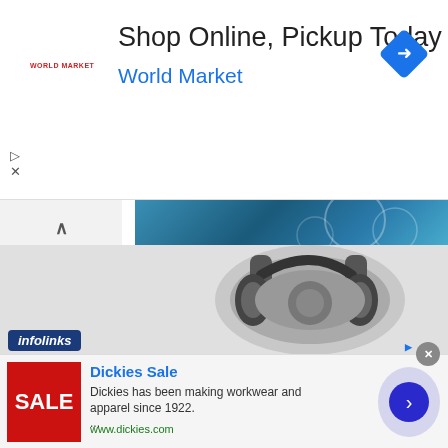[Figure (screenshot): World Market advertisement banner: Shop Online, Pickup Today with World Market logo and blue navigation icon]
[Figure (screenshot): Build a Data Culture content section with blue abstract header image and collapse button]
Build a Data Culture
83% of CEOs want a data-driven organization
[Figure (photo): Headphones advertisement photo with infolinks badge overlay]
[Figure (screenshot): Dickies Sale advertisement: red SALE box, Dickies headline, description text, www.dickies.com URL, and blue navigation button]